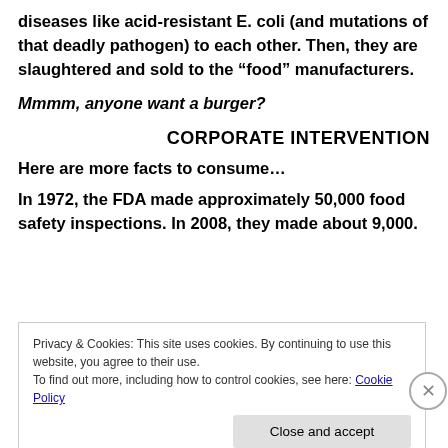diseases like acid-resistant E. coli (and mutations of that deadly pathogen) to each other. Then, they are slaughtered and sold to the “food” manufacturers.
Mmmm, anyone want a burger?
CORPORATE INTERVENTION
Here are more facts to consume…
In 1972, the FDA made approximately 50,000 food safety inspections. In 2008, they made about 9,000.
Privacy & Cookies: This site uses cookies. By continuing to use this website, you agree to their use.
To find out more, including how to control cookies, see here: Cookie Policy
Close and accept